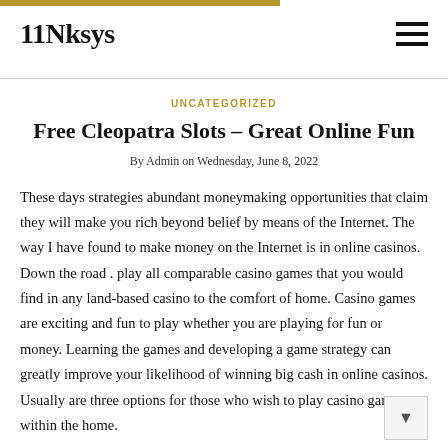11Nksys
UNCATEGORIZED
Free Cleopatra Slots – Great Online Fun
By Admin on Wednesday, June 8, 2022
These days strategies abundant moneymaking opportunities that claim they will make you rich beyond belief by means of the Internet. The way I have found to make money on the Internet is in online casinos. Down the road . play all comparable casino games that you would find in any land-based casino to the comfort of home. Casino games are exciting and fun to play whether you are playing for fun or money. Learning the games and developing a game strategy can greatly improve your likelihood of winning big cash in online casinos. Usually are three options for those who wish to play casino games within the home.